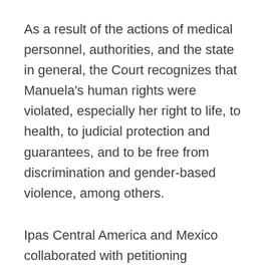As a result of the actions of medical personnel, authorities, and the state in general, the Court recognizes that Manuela's human rights were violated, especially her right to life, to health, to judicial protection and guarantees, and to be free from discrimination and gender-based violence, among others.
Ipas Central America and Mexico collaborated with petitioning organizations by participating as an expert witness during the trial. During the hearings, Guillermo Ortiz, Ipas